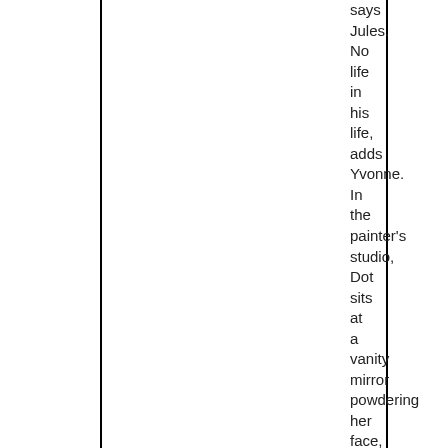says Jules. No life in his life, adds Yvonne. In the painter's studio, Dot sits at a vanity mirror powdering her face, while, in an identical rhythm, Georges dabs spots of red